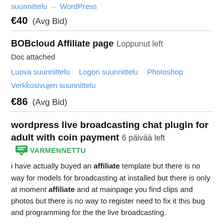suunnittelu  WordPress
€40  (Avg Bid)
BOBcloud Affiliate page  Loppunut left
Doc attached
Luova suunnittelu  Logon suunnittelu  Photoshop  Verkkosivujen suunnittelu
€86  (Avg Bid)
wordpress live broadcasting chat plugin for adult with coin payment  6 päivää left  VARMENNETTU
i have actually buyed an affiliate template but there is no way for models for broadcasting at installed but there is only at moment affiliate and at mainpage you find clips and photos but there is no way to register need to fix it this bug and programming for the the live broadcasting.